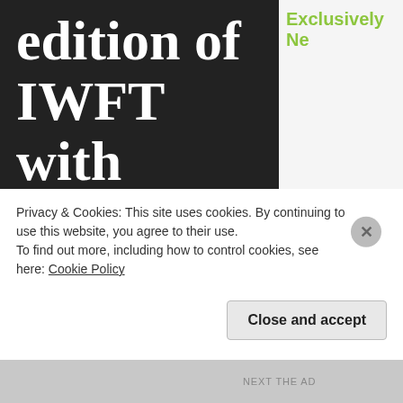edition of IWFT with Oscar Bimpong
by Admin@newslinegh.com in Gospel Swipe
The Oscar Bimpong Brand (OBB), a Multiple Award Winner and
Exclusively Ne
Privacy & Cookies: This site uses cookies. By continuing to use this website, you agree to their use.
To find out more, including how to control cookies, see here: Cookie Policy
Close and accept
NEXT THE AD